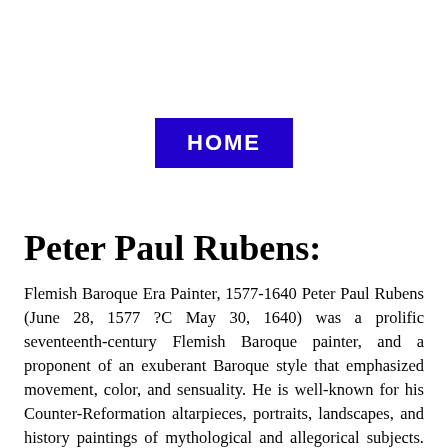[Figure (other): Blue rectangular button with white bold text reading HOME]
Peter Paul Rubens:
Flemish Baroque Era Painter, 1577-1640 Peter Paul Rubens (June 28, 1577 ?C May 30, 1640) was a prolific seventeenth-century Flemish Baroque painter, and a proponent of an exuberant Baroque style that emphasized movement, color, and sensuality. He is well-known for his Counter-Reformation altarpieces, portraits, landscapes, and history paintings of mythological and allegorical subjects. In addition to running a large studio in Antwerp which produced paintings popular with nobility and art collectors throughout Europe, Rubens was a classically-educated humanist scholar, art collector, and diplomat who was